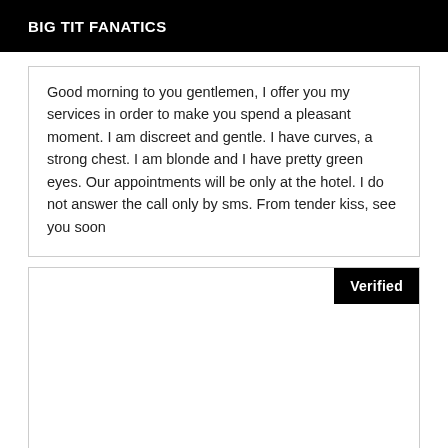BIG TIT FANATICS
Good morning to you gentlemen, I offer you my services in order to make you spend a pleasant moment. I am discreet and gentle. I have curves, a strong chest. I am blonde and I have pretty green eyes. Our appointments will be only at the hotel. I do not answer the call only by sms. From tender kiss, see you soon
[Figure (other): Image placeholder with Verified badge in top right corner]